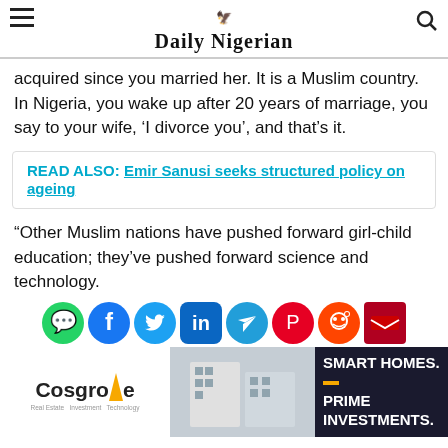Daily Nigerian
acquired since you married her. It is a Muslim country. In Nigeria, you wake up after 20 years of marriage, you say to your wife, ‘I divorce you’, and that’s it.
READ ALSO:  Emir Sanusi seeks structured policy on ageing
“Other Muslim nations have pushed forward girl-child education; they’ve pushed forward science and technology.
[Figure (infographic): Social media sharing icons: WhatsApp, Facebook, Twitter, LinkedIn, Telegram, Pinterest, Reddit, Email]
[Figure (infographic): Cosgrove Real Estate advertisement: Cosgrove logo on the left, building photo in center, dark background on right with text SMART HOMES. PRIME INVESTMENTS.]